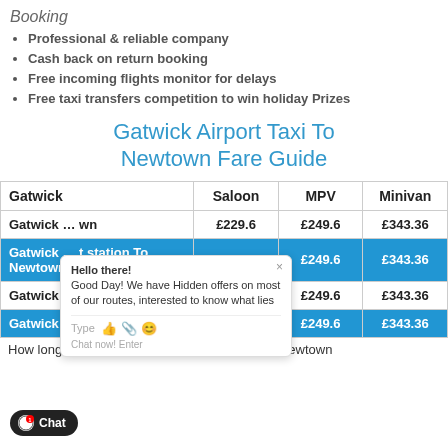Booking
Professional & reliable company
Cash back on return booking
Free incoming flights monitor for delays
Free taxi transfers competition to win holiday Prizes
Gatwick Airport Taxi To Newtown Fare Guide
| Gatwick | Saloon | MPV | Minivan |
| --- | --- | --- | --- |
| Gatwick ... wn | £229.6 | £249.6 | £343.36 |
| Gatwick ... station To Newtown | £229.6 | £249.6 | £343.36 |
| Gatwick ... Newtown | £229.6 | £249.6 | £343.36 |
| Gatwick Airport To Newtown | £229.6 | £249.6 | £343.36 |
How long does it take taxi ride from Gatwick to Newtown